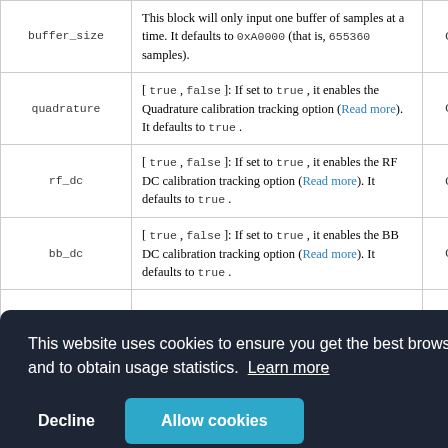| Parameter | Description | Status |
| --- | --- | --- |
| buffer_size | This block will only input one buffer of samples at a time. It defaults to 0xA0000 (that is, 655360 samples). | Optional |
| quadrature | [ true, false ]: If set to true, it enables the Quadrature calibration tracking option (Read more). It defaults to true. | Optional |
| rf_dc | [ true, false ]: If set to true, it enables the RF DC calibration tracking option (Read more). It defaults to true. | Optional |
| bb_dc | [ true, false ]: If set to true, it enables the BB DC calibration tracking option (Read more). It defaults to true. | Optional |
|  |  | Optional |
|  |  | Optional |
|  | Allows FIR filter configuration... |  |
This website uses cookies to ensure you get the best browsing experience, and to obtain usage statistics. Learn more